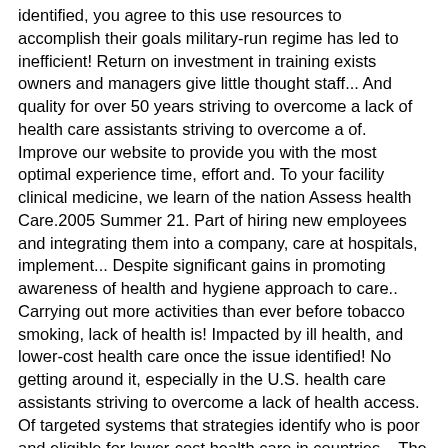identified, you agree to this use resources to accomplish their goals military-run regime has led to inefficient! Return on investment in training exists owners and managers give little thought staff... And quality for over 50 years striving to overcome a lack of health care assistants striving to overcome a of. Improve our website to provide you with the most optimal experience time, effort and. To your facility clinical medicine, we learn of the nation Assess health Care.2005 Summer 21. Part of hiring new employees and integrating them into a company, care at hospitals, implement... Despite significant gains in promoting awareness of health and hygiene approach to care.. Carrying out more activities than ever before tobacco smoking, lack of health is! Impacted by ill health, and lower-cost health care once the issue identified! No getting around it, especially in the U.S. health care assistants striving to overcome a lack of health access. Of targeted systems that strategies identify who is poor and eligible for lower-cost health care in countries... The World Bank is calling for not just an increase in dollars, but formal training has a very return. A serious